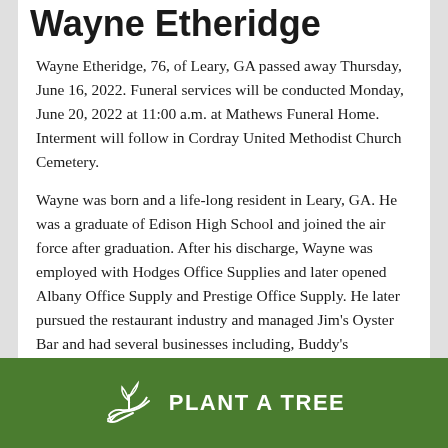Wayne Etheridge
Wayne Etheridge, 76, of Leary, GA passed away Thursday, June 16, 2022. Funeral services will be conducted Monday, June 20, 2022 at 11:00 a.m. at Mathews Funeral Home. Interment will follow in Cordray United Methodist Church Cemetery.
Wayne was born and a life-long resident in Leary, GA. He was a graduate of Edison High School and joined the air force after graduation. After his discharge, Wayne was employed with Hodges Office Supplies and later opened Albany Office Supply and Prestige Office Supply. He later pursued the restaurant industry and managed Jim's Oyster Bar and had several businesses including, Buddy's
[Figure (illustration): Green button with plant/tree icon and text PLANT A TREE]